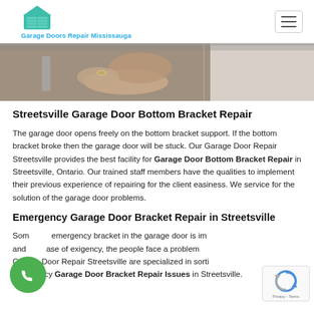Garage Doors Repair Mississauga
[Figure (photo): Close-up photo of a hand/fingers touching a garage door bracket mechanism, metallic surface visible]
Streetsville Garage Door Bottom Bracket Repair
The garage door opens freely on the bottom bracket support. If the bottom bracket broke then the garage door will be stuck. Our Garage Door Repair Streetsville provides the best facility for Garage Door Bottom Bracket Repair in Streetsville, Ontario. Our trained staff members have the qualities to implement their previous experience of repairing for the client easiness. We service for the solution of the garage door problems.
Emergency Garage Door Bracket Repair in Streetsville
Sometimes emergency bracket in the garage door is important and in case of exigency, the people face a problem. Garage Door Repair Streetsville are specialized in sorting emergency Garage Door Bracket Repair Issues in Streetsville.